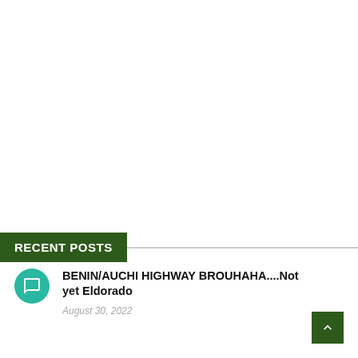RECENT POSTS
BENIN/AUCHI HIGHWAY BROUHAHA....Not yet Eldorado
August 30, 2022